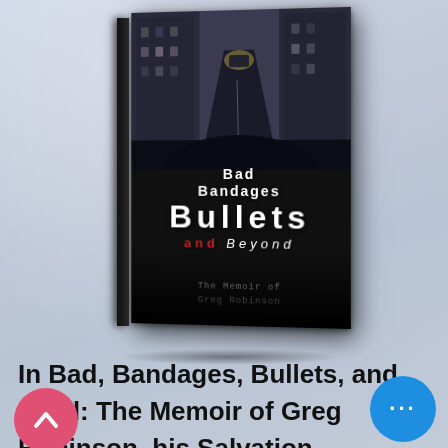[Figure (photo): Book cover of 'Bad Bandages Bullets and Beyond: The Memoir of Greg Robinson'. Dark cover featuring a street/alley scene from above with bold white text. The word 'and' appears in red, 'Beyond' in stylized handwritten-style text.]
In Bad, Bandages, Bullets, and Beyond: The Memoir of Greg Robinson, his Salvation experience is shared, in ho of inspiring all who read this